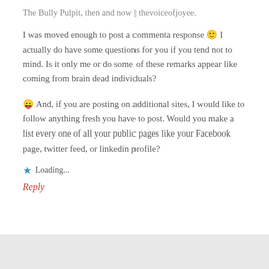The Bully Pulpit, then and now | thevoiceofjoyee.
I was moved enough to post a commenta response 🙂 I actually do have some questions for you if you tend not to mind. Is it only me or do some of these remarks appear like coming from brain dead individuals?
😛 And, if you are posting on additional sites, I would like to follow anything fresh you have to post. Would you make a list every one of all your public pages like your Facebook page, twitter feed, or linkedin profile?
★ Loading...
Reply